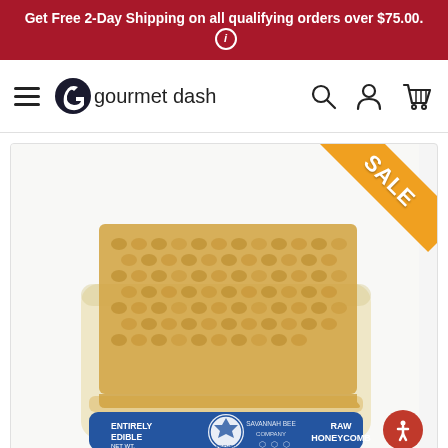Get Free 2-Day Shipping on all qualifying orders over $75.00.
[Figure (logo): Gourmet Dash logo with hamburger menu and navigation icons (search, user, cart)]
[Figure (photo): Raw honeycomb in a clear plastic container with blue label reading 'Entirely Edible Raw Honeycomb, Net Wt. 5.3 oz / 150g' with SALE ribbon in top right corner]